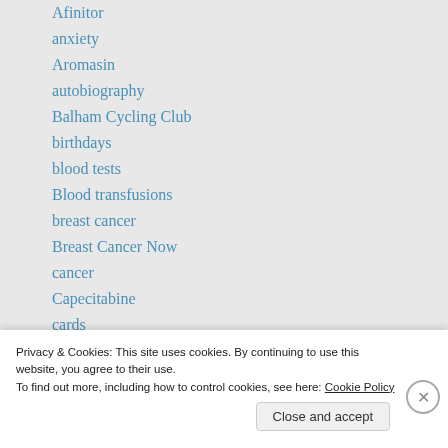Afinitor
anxiety
Aromasin
autobiography
Balham Cycling Club
birthdays
blood tests
Blood transfusions
breast cancer
Breast Cancer Now
cancer
Capecitabine
cards
charity fundraising
Privacy & Cookies: This site uses cookies. By continuing to use this website, you agree to their use.
To find out more, including how to control cookies, see here: Cookie Policy
Close and accept